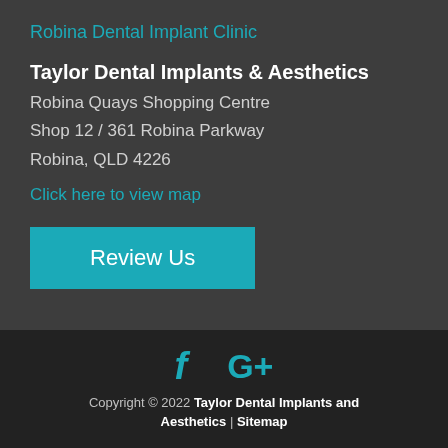Robina Dental Implant Clinic
Taylor Dental Implants & Aesthetics
Robina Quays Shopping Centre
Shop 12 / 361 Robina Parkway
Robina, QLD 4226
Click here to view map
Review Us
[Figure (logo): Facebook and Google+ social media icons in teal color]
Copyright © 2022 Taylor Dental Implants and Aesthetics | Sitemap